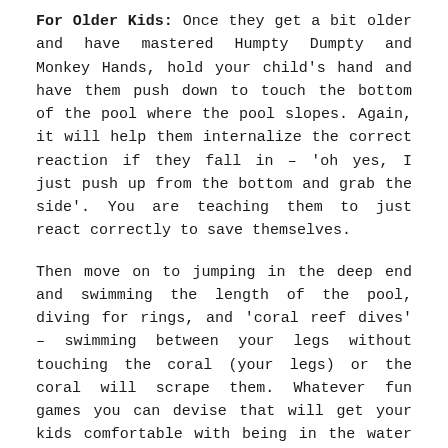For Older Kids: Once they get a bit older and have mastered Humpty Dumpty and Monkey Hands, hold your child's hand and have them push down to touch the bottom of the pool where the pool slopes. Again, it will help them internalize the correct reaction if they fall in – 'oh yes, I just push up from the bottom and grab the side'. You are teaching them to just react correctly to save themselves.
Then move on to jumping in the deep end and swimming the length of the pool, diving for rings, and 'coral reef dives' – swimming between your legs without touching the coral (your legs) or the coral will scrape them. Whatever fun games you can devise that will get your kids comfortable with being in the water and out of their depth will help keep your kids safer.